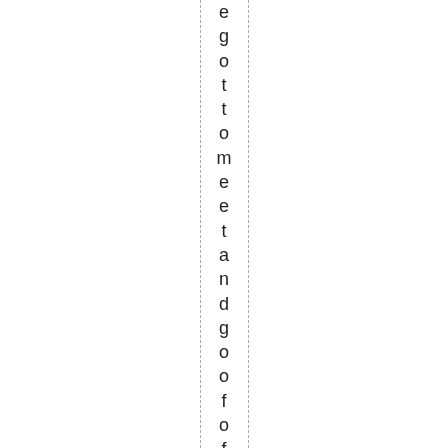e g o t t o m e e t a n d g o o f o f f w i t h s o m e p r